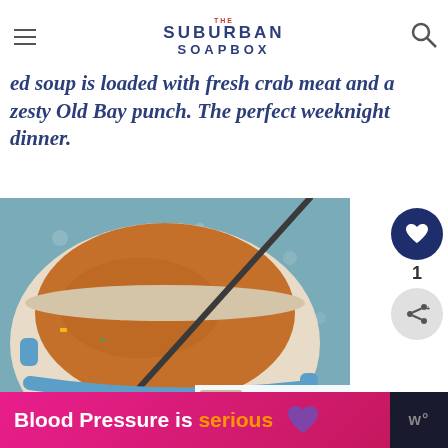THE SUBURBAN SOAPBOX
ed soup is loaded with fresh crab meat and a zesty Old Bay punch. The perfect weeknight dinner.
[Figure (photo): A blue Dutch oven pot filled with crab soup, with a ladle resting in it. A bowl of oyster crackers is visible in the lower right corner. The background is a blue-gray textured surface with a striped cloth napkin.]
WHAT'S NEXT → Cream of Crab Soup